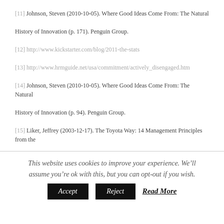[11] Johnson, Steven (2010-10-05). Where Good Ideas Come From: The Natural History of Innovation (p. 171). Penguin Group.
[12] http://www.kickstarter.com/blog/2011-the-stats
[13] http://www.hrmguide.net/usa/commitment/actively_disengaged.htm
[14] Johnson, Steven (2010-10-05). Where Good Ideas Come From: The Natural History of Innovation (p. 94). Penguin Group.
[15] Liker, Jeffrey (2003-12-17). The Toyota Way: 14 Management Principles from the World’s Greatest Manufacturer (Kindle Location 3021). McGraw-Hill.
This website uses cookies to improve your experience. We’ll assume you’re ok with this, but you can opt-out if you wish.
Accept  Reject  Read More